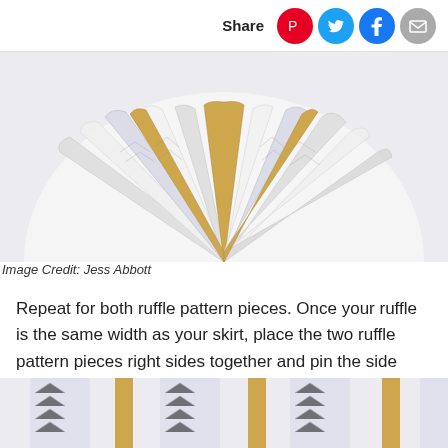Share
[Figure (photo): Close-up of a ruffled fabric piece with arrow/chevron pattern in grey and mustard yellow on white background, shown from above in fan/accordion shape]
Image Credit: Jess Abbott
Repeat for both ruffle pattern pieces. Once your ruffle is the same width as your skirt, place the two ruffle pattern pieces right sides together and pin the side seams. Sew using a 1/2-inch seam allowance and press open.
[Figure (photo): Bottom portion of fabric with arrow/chevron pattern in grey and mustard yellow on white background, partially visible]